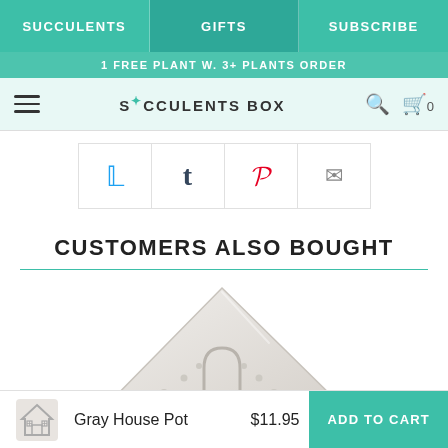SUCCULENTS | GIFTS | SUBSCRIBE
1 FREE PLANT W. 3+ PLANTS ORDER
SUCCULENTS BOX
[Figure (screenshot): Social share buttons: Twitter, Tumblr, Pinterest, Email]
CUSTOMERS ALSO BOUGHT
[Figure (photo): Gray house-shaped succulent pot, triangular/house shape, light gray ceramic]
Gray House Pot  $11.95  ADD TO CART